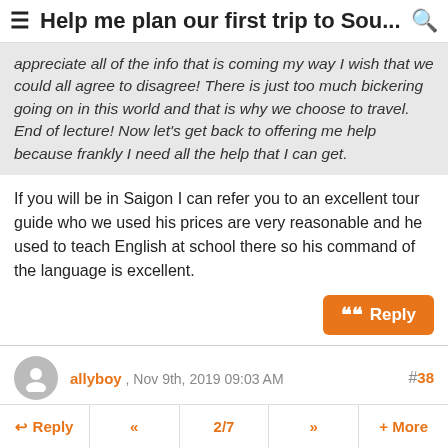Help me plan our first trip to Sou...
appreciate all of the info that is coming my way I wish that we could all agree to disagree! There is just too much bickering going on in this world and that is why we choose to travel. End of lecture! Now let's get back to offering me help because frankly I need all the help that I can get.
If you will be in Saigon I can refer you to an excellent tour guide who we used his prices are very reasonable and he used to teach English at school there so his command of the language is excellent.
Reply
allyboy , Nov 9th, 2019 09:03 AM #38
Thank you jacketwatch and yes we would be interested in
Reply  <<  2/7  >>  + More